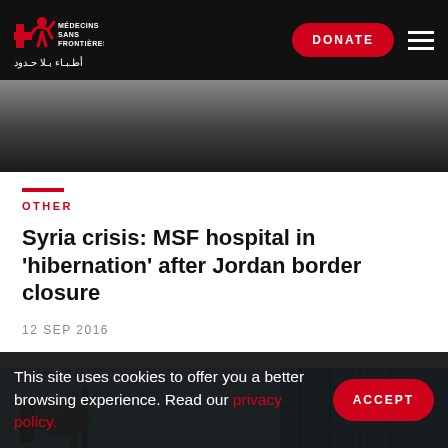Médecins Sans Frontières — DONATE — Menu
[Figure (photo): Dark blurred photo background at top of page]
OTHER
Syria crisis: MSF hospital in 'hibernation' after Jordan border closure
12 SEP 2016
[Figure (photo): Partial photo of mechanical/industrial equipment against blue sky]
This site uses cookies to offer you a better browsing experience. Read our privacy policy.